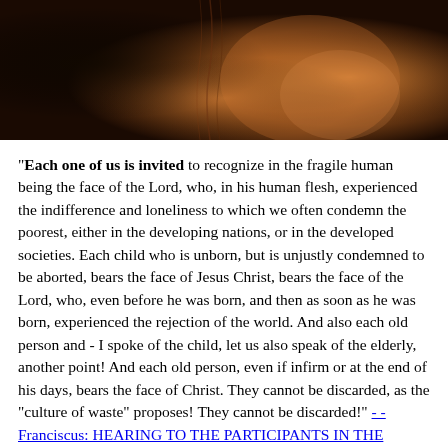[Figure (photo): Close-up painting or illustration of a face (likely Jesus Christ) with warm orange-brown tones, showing the lower half of the face with long hair visible, dark background on the left transitioning to warm tones on the right.]
"Each one of us is invited to recognize in the fragile human being the face of the Lord, who, in his human flesh, experienced the indifference and loneliness to which we often condemn the poorest, either in the developing nations, or in the developed societies. Each child who is unborn, but is unjustly condemned to be aborted, bears the face of Jesus Christ, bears the face of the Lord, who, even before he was born, and then as soon as he was born, experienced the rejection of the world. And also each old person and - I spoke of the child, let us also speak of the elderly, another point! And each old person, even if infirm or at the end of his days, bears the face of Christ. They cannot be discarded, as the "culture of waste" proposes! They cannot be discarded!" - - Franciscus: HEARING TO THE PARTICIPANTS IN THE CATHOLIC GYNAECOLOGISTS, 20.09.2013